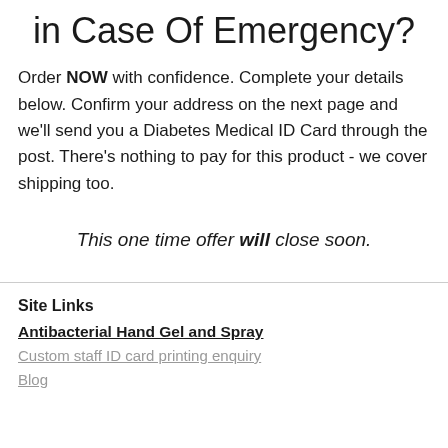in Case Of Emergency?
Order NOW with confidence. Complete your details below. Confirm your address on the next page and we'll send you a Diabetes Medical ID Card through the post. There's nothing to pay for this product - we cover shipping too.
This one time offer will close soon.
Site Links
Antibacterial Hand Gel and Spray
Custom staff ID card printing enquiry
Blog